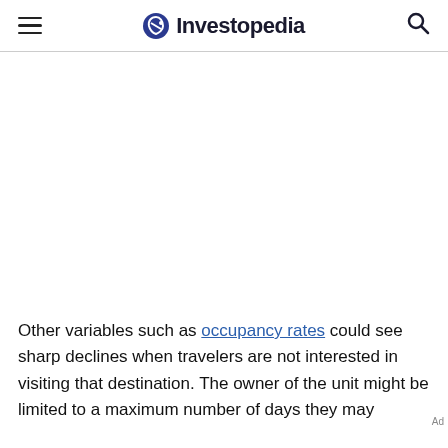Investopedia
Other variables such as occupancy rates could see sharp declines when travelers are not interested in visiting that destination. The owner of the unit might be limited to a maximum number of days they may